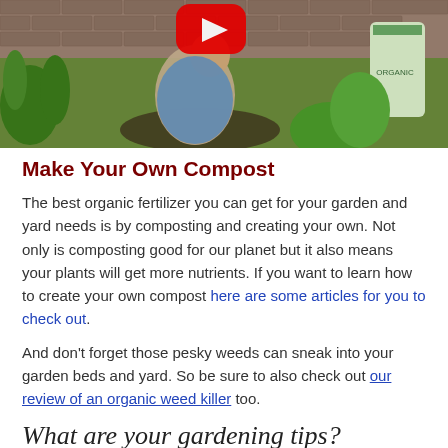[Figure (photo): Person gardening outdoors near a brick wall with green plants and a bag of fertilizer, with a YouTube play button overlay]
Make Your Own Compost
The best organic fertilizer you can get for your garden and yard needs is by composting and creating your own. Not only is composting good for our planet but it also means your plants will get more nutrients. If you want to learn how to create your own compost here are some articles for you to check out.
And don’t forget those pesky weeds can sneak into your garden beds and yard. So be sure to also check out our review of an organic weed killer too.
What are your gardening tips?